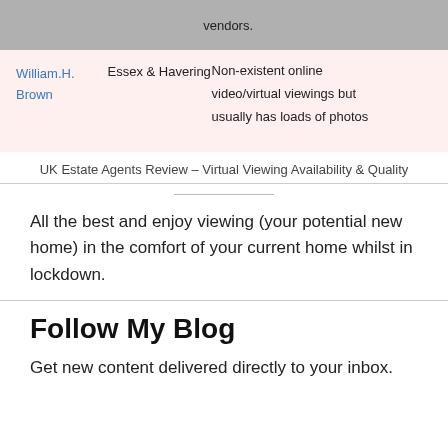| Agent | Area | Notes |
| --- | --- | --- |
|  |  | vendors. |
| William.H. Brown | Essex & Havering | Non-existent online video/virtual viewings but usually has loads of photos |
UK Estate Agents Review – Virtual Viewing Availability & Quality
All the best and enjoy viewing (your potential new home) in the comfort of your current home whilst in lockdown.
Follow My Blog
Get new content delivered directly to your inbox.